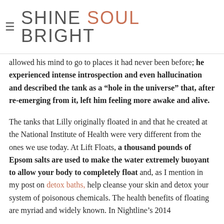SHINE SOUL BRIGHT
allowed his mind to go to places it had never been before; he experienced intense introspection and even hallucination and described the tank as a “hole in the universe” that, after re-emerging from it, left him feeling more awake and alive.
The tanks that Lilly originally floated in and that he created at the National Institute of Health were very different from the ones we use today. At Lift Floats, a thousand pounds of Epsom salts are used to make the water extremely buoyant to allow your body to completely float and, as I mention in my post on detox baths, help cleanse your skin and detox your system of poisonous chemicals. The health benefits of floating are myriad and widely known. In Nightline’s 2014